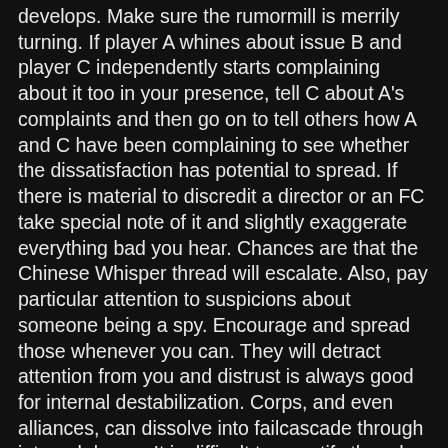develops. Make sure the rumormill is merrily turning. If player A whines about issue B and player C independently starts complaining about it too in your presence, tell C about A's complaints and then go on to tell others how A and C have been complaining to see whether the dissatisfaction has potential to spread. If there is material to discredit a director or an FC take special note of it and slightly exaggerate everything bad you hear. Chances are that the Chinese Whisper thread will escalate. Also, pay particular attention to suspicions about someone being a spy. Encourage and spread those whenever you can. They will detract attention from you and distrust is always good for internal destabilization. Corps, and even alliances, can dissolve into failcascade through internal drama. It is difficult to quantify though and best reserved for times when you have a fixed employer who will just pay you for generally messing with things. It can also be perversely pleasurable to do. In the very best case, you can identify and groom potential defectors who